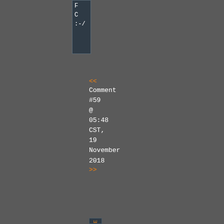[Figure (screenshot): Top-left sidebar box with partial text visible: lines starting with 'F', 'C', ':-']
<< Comment #59 @ 05:48 CST, 19 November 2018 >>
[Figure (screenshot): Vertical sidebar with rotated text showing: E, )M, S, -, F, t, # and vertical bar characters]